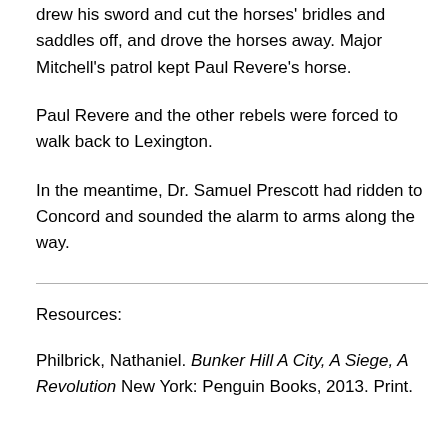drew his sword and cut the horses' bridles and saddles off, and drove the horses away. Major Mitchell's patrol kept Paul Revere's horse.
Paul Revere and the other rebels were forced to walk back to Lexington.
In the meantime, Dr. Samuel Prescott had ridden to Concord and sounded the alarm to arms along the way.
Resources:
Philbrick, Nathaniel. Bunker Hill A City, A Siege, A Revolution New York: Penguin Books, 2013. Print.